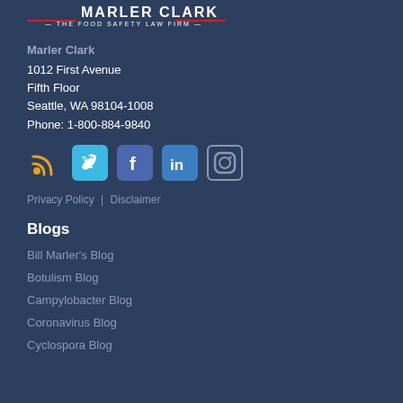[Figure (logo): Marler Clark - The Food Safety Law Firm logo, partial view at top]
Marler Clark
1012 First Avenue
Fifth Floor
Seattle, WA 98104-1008
Phone: 1-800-884-9840
[Figure (infographic): Social media icons: RSS (orange), Twitter (blue), Facebook (blue), LinkedIn (blue), Instagram (outline)]
Privacy Policy | Disclaimer
Blogs
Bill Marler's Blog
Botulism Blog
Campylobacter Blog
Coronavirus Blog
Cyclospora Blog